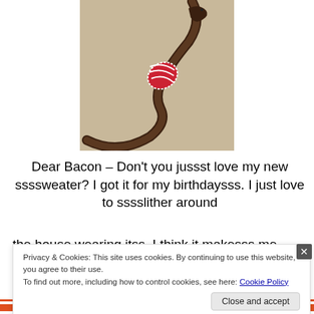[Figure (photo): A snake wearing a tiny red and white knitted sweater, curled on a beige/skin-toned background]
Dear Bacon – Don't you jussst love my new ssssweater?  I got it for my birthdaysss.  I just love to sssslither around the house wearing itss.  I think it makesss me ssslim and
Privacy & Cookies: This site uses cookies. By continuing to use this website, you agree to their use.
To find out more, including how to control cookies, see here: Cookie Policy
Close and accept